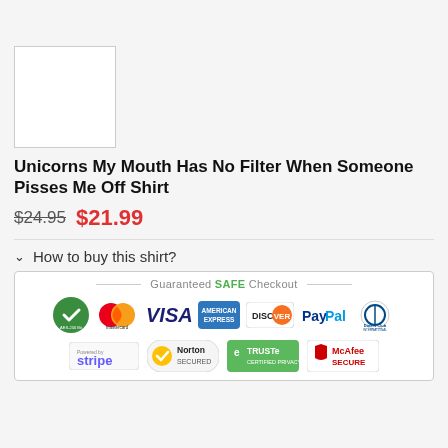[Figure (photo): Product thumbnail image placeholder (white box with border)]
Unicorns My Mouth Has No Filter When Someone Pisses Me Off Shirt
$24.95  $21.99
How to buy this shirt?
[Figure (infographic): Guaranteed SAFE Checkout badge area with payment logos: AES-256 Bit, Mastercard, VISA, American Express, Discover, PayPal, Diners Club International, Stripe, Norton Secured, TRUSTe Certified Privacy, McAfee Secure]